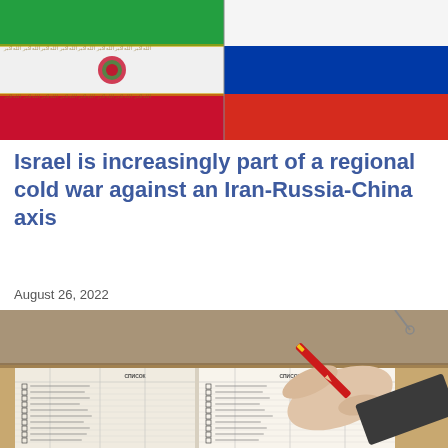[Figure (photo): Two flags side by side — Iranian flag (green, white, red with emblem) on the left and Russian flag (white, blue, red) on the right]
Israel is increasingly part of a regional cold war against an Iran-Russia-China axis
August 26, 2022
[Figure (photo): A hand holding a red pencil writing on an open ballot or voting register book, resting on a wooden surface]